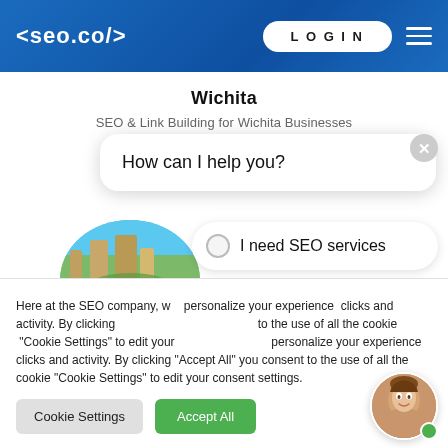[Figure (logo): seo.co website header with blue gradient background, logo '<seo.co/>' in white, LOGIN button, and hamburger menu]
Wichita
SEO & Link Building for Wichita Businesses
[Figure (screenshot): Chatbot interface showing 'How can I help you?' with four options: I need SEO services, I need quality backlinks, I need content writing, I'm looking for pricing. City aerial photo visible behind options.]
Here at the SEO company, we personalize your experience clicks and activity. By clicking "Accept All" you consent to the use of all the cookie "Cookie Settings" to edit your consent settings.
Cookie Settings
Accept All